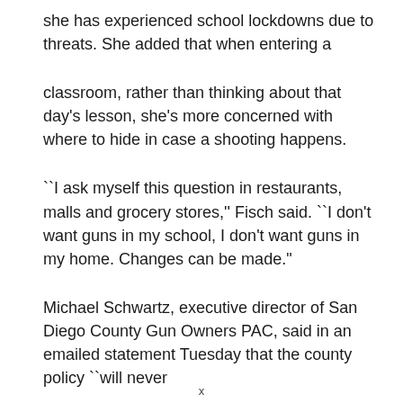she has experienced school lockdowns due to threats. She added that when entering a
classroom, rather than thinking about that day's lesson, she's more concerned with where to hide in case a shooting happens.
``I ask myself this question in restaurants, malls and grocery stores,'' Fisch said. ``I don't want guns in my school, I don't want guns in my home. Changes can be made."
Michael Schwartz, executive director of San Diego County Gun Owners PAC, said in an emailed statement Tuesday that the county policy ``will never
x